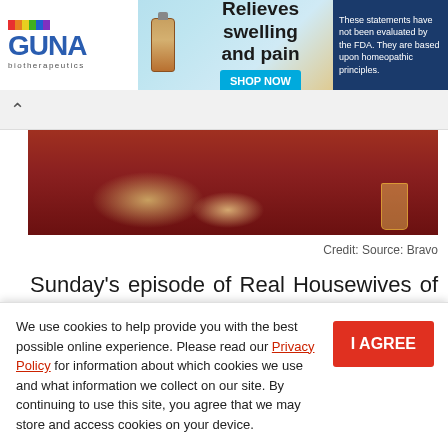[Figure (other): GUNA biotherapeutics advertisement banner with logo, product bottle, text 'Relieves swelling and pain', SHOP NOW button, and disclaimer text about FDA evaluation and homeopathic principles.]
[Figure (photo): Partial photo showing people holding hands or drinks in a social setting, appears to be from Bravo TV show Real Housewives of Potomac.]
Credit: Source: Bravo
Sunday's episode of Real Housewives of Potomac saw a completely different side of Monique Samuels' perspective on the fight. She
We use cookies to help provide you with the best possible online experience. Please read our Privacy Policy for information about which cookies we use and what information we collect on our site. By continuing to use this site, you agree that we may store and access cookies on your device.